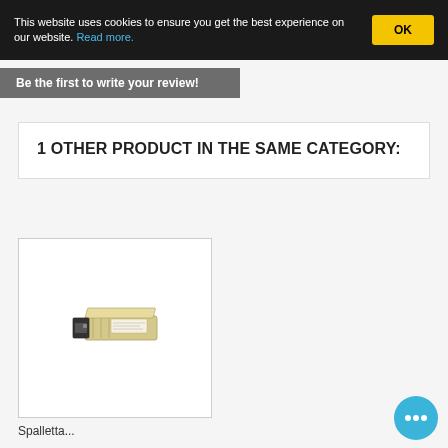This website uses cookies to ensure you get the best experience on our website. Read more.
OK
Be the first to write your review!
1 OTHER PRODUCT IN THE SAME CATEGORY:
[Figure (photo): SFP+ fiber optic transceiver module, small rectangular metallic device with black connector end]
Spalletta...